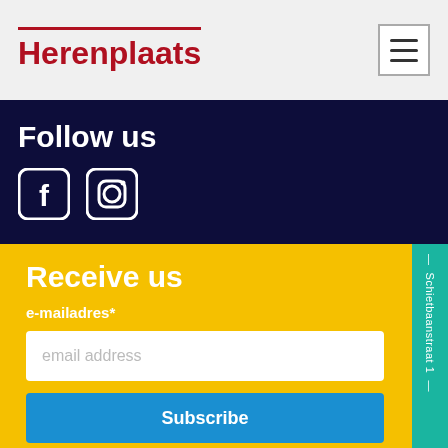Herenplaats
Follow us
[Figure (illustration): Facebook and Instagram social media icons (white rounded square icons on dark navy background)]
Receive us
e-mailadres*
email address
Subscribe
Galerie Atelier Herenplaats - Space for creativity — Galeri